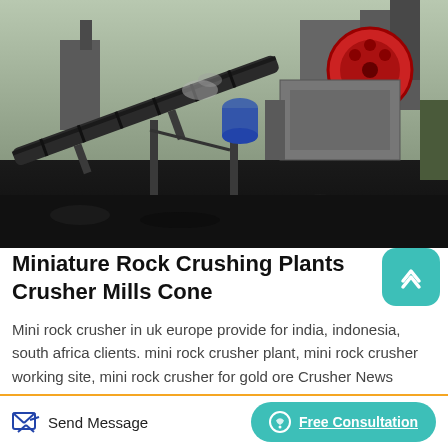[Figure (photo): Industrial rock crushing plant with conveyor belts, machinery, and mining equipment photographed at an outdoor site]
Miniature Rock Crushing Plants Crusher Mills Cone
Mini rock crusher in uk europe provide for india, indonesia, south africa clients. mini rock crusher plant, mini rock crusher working site, mini rock crusher for gold ore Crusher News Double supply granite ore mobile crushing plant and mining
Send Message
Free Consultation